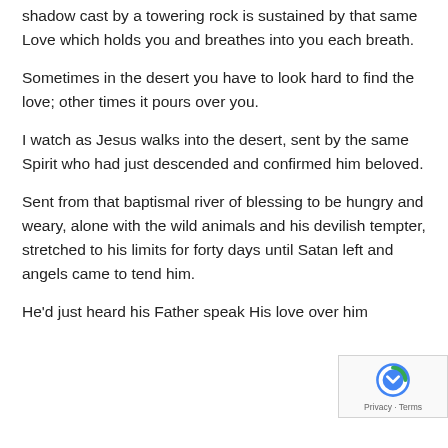shadow cast by a towering rock is sustained by that same Love which holds you and breathes into you each breath.
Sometimes in the desert you have to look hard to find the love; other times it pours over you.
I watch as Jesus walks into the desert, sent by the same Spirit who had just descended and confirmed him beloved.
Sent from that baptismal river of blessing to be hungry and weary, alone with the wild animals and his devilish tempter, stretched to his limits for forty days until Satan left and angels came to tend him.
He'd just heard his Father speak His love over him